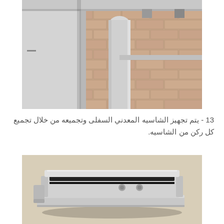[Figure (photo): Close-up photo of an automatic sliding door system installed against a brick wall, showing aluminum framing, a cylindrical vertical post, and a horizontal rail at the top.]
13 - يتم تجهيز الشاسيه المعدني السفلى وتجميعه من خلال تجميع كل ركن من الشاسيه.
[Figure (photo): Close-up photo of a metal lower chassis frame component, showing an aluminum extruded profile with black rubber seal and screw holes, placed on a beige surface.]